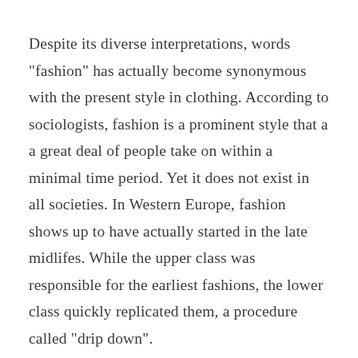Despite its diverse interpretations, words "fashion" has actually become synonymous with the present style in clothing. According to sociologists, fashion is a prominent style that a a great deal of people take on within a minimal time period. Yet it does not exist in all societies. In Western Europe, fashion shows up to have actually started in the late midlifes. While the upper class was responsible for the earliest fashions, the lower class quickly replicated them, a procedure called "drip down".
The apparel industry is a huge worldwide